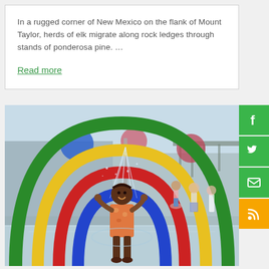In a rugged corner of New Mexico on the flank of Mount Taylor, herds of elk migrate along rock ledges through stands of ponderosa pine. …
Read more
[Figure (photo): A young girl smiling and playing in a colorful splash pad water park, surrounded by large rainbow-colored arched pipes (green, yellow, red, blue). Water is spraying from above. Other children playing in the background. The splash pad has a light blue/grey wet concrete floor.]